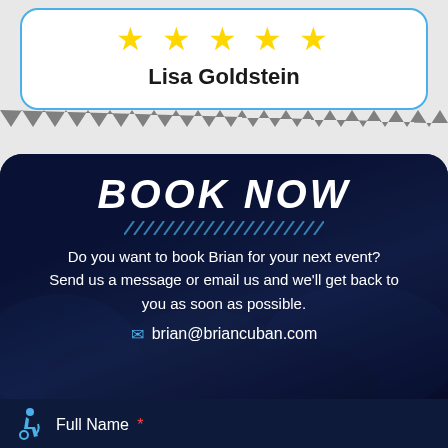[Figure (other): Five yellow star rating icons in a row]
Lisa Goldstein
[Figure (other): Zigzag/sawtooth decorative border divider]
BOOK NOW
[Figure (other): Diagonal blue dashed lines decorative element]
Do you want to book Brian for your next event? Send us a message or email us and we'll get back to you as soon as possible.
brian@briancuban.com
Full Name *